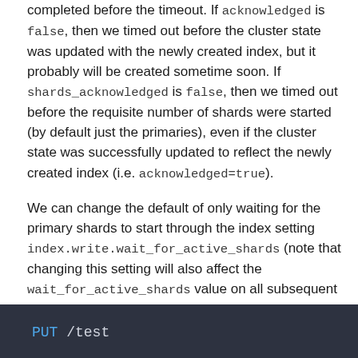completed before the timeout. If acknowledged is false, then we timed out before the cluster state was updated with the newly created index, but it probably will be created sometime soon. If shards_acknowledged is false, then we timed out before the requisite number of shards were started (by default just the primaries), even if the cluster state was successfully updated to reflect the newly created index (i.e. acknowledged=true).

We can change the default of only waiting for the primary shards to start through the index setting index.write.wait_for_active_shards (note that changing this setting will also affect the wait_for_active_shards value on all subsequent write operations):
[Figure (screenshot): Code block with dark background showing: PUT /test]